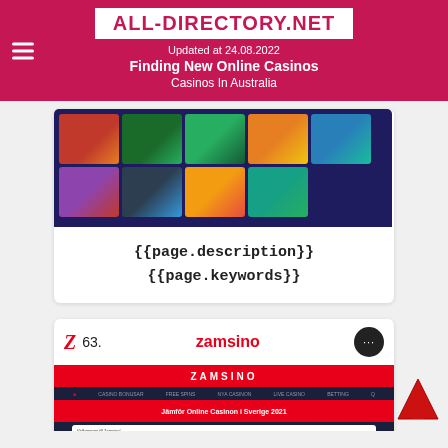ALL-DIRECTORY.NET
Updated at 24.08.2022
Finding New Online Casinos
Casinos In Australia
[Figure (screenshot): Screenshot of an online casino website showing game thumbnails in a grid layout with slot game images]
{{page.description}}
{{page.keywords}}
63. zamsino
[Figure (screenshot): Screenshot of Zamsino casino website with red and dark navy design, showing navigation menu and Swedish language content 'Jämför Online Casinon i Sverige 2021']